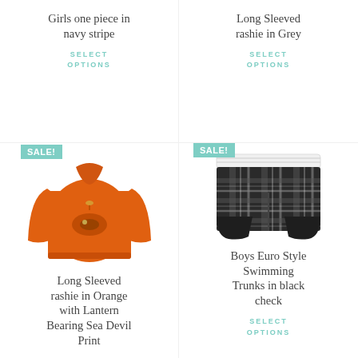Girls one piece in navy stripe
SELECT OPTIONS
Long Sleeved rashie in Grey
SELECT OPTIONS
[Figure (photo): Orange long-sleeved rashie with lantern bearing sea devil print, with SALE! badge]
[Figure (photo): Boys black check euro style swimming trunks with white waistband, with SALE! badge]
Long Sleeved rashie in Orange with Lantern Bearing Sea Devil Print
Boys Euro Style Swimming Trunks in black check
SELECT OPTIONS